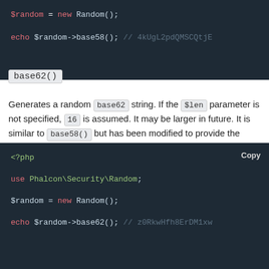[Figure (screenshot): Code block showing PHP: $random = new Random(); echo $random->base58(); // 4kUgL2pdQMSCQtjE]
base62()
Generates a random base62 string. If the $len parameter is not specified, 16 is assumed. It may be larger in future. It is similar to base58() but has been modified to provide the largest value that can safely be used in URLs without needing to take extra characters into consideration because it is [A-Za-z0-9]
[Figure (screenshot): Code block showing PHP: <?php use Phalcon\Security\Random; $random = new Random(); echo $random->base62(); // z0RkwHfh8ErDM1xw]